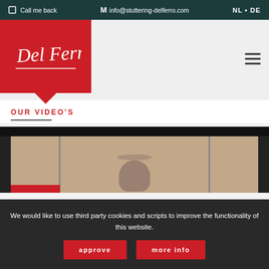Call me back  M info@stuttering-delferro.com  NL • DE
[Figure (logo): Del Ferro logo in white script on red speech bubble background]
OUR VIDEO'S
[Figure (screenshot): Video thumbnail showing a person in front of partitioned background, with red play button strip]
We would like to use third party cookies and scripts to improve the functionality of this website.
approve  more info